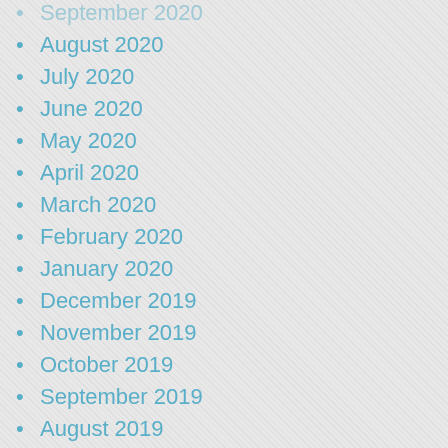September 2020
August 2020
July 2020
June 2020
May 2020
April 2020
March 2020
February 2020
January 2020
December 2019
November 2019
October 2019
September 2019
August 2019
July 2019
June 2019
May 2019
April 2019
March 2019
February 2019